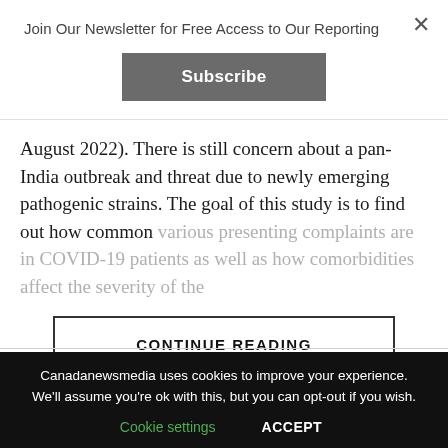Join Our Newsletter for Free Access to Our Reporting
Subscribe
August 2022). There is still concern about a pan-India outbreak and threat due to newly emerging pathogenic strains. The goal of this study is to find out how common various presenting complaints are in COVID-19 patients as well as how comorbidities affect the severity of the
CONTINUE READING
LATEST   TRENDING   VIDEOS
Canadanewsmedia uses cookies to improve your experience. We'll assume you're ok with this, but you can opt-out if you wish.
Cookie settings   ACCEPT